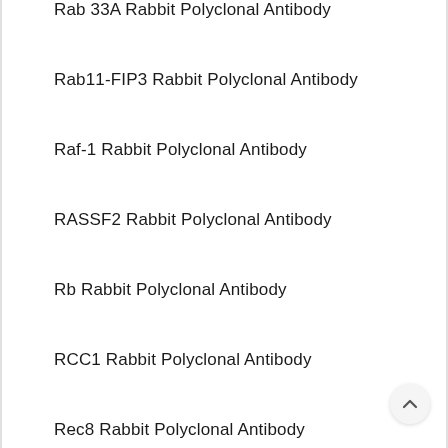Rab 33A Rabbit Polyclonal Antibody
Rab11-FIP3 Rabbit Polyclonal Antibody
Raf-1 Rabbit Polyclonal Antibody
RASSF2 Rabbit Polyclonal Antibody
Rb Rabbit Polyclonal Antibody
RCC1 Rabbit Polyclonal Antibody
Rec8 Rabbit Polyclonal Antibody
Repac Rabbit Polyclonal Antibody
Ret Rabbit Polyclonal Antibody
Rev-erba Rabbit Polyclonal Antibody